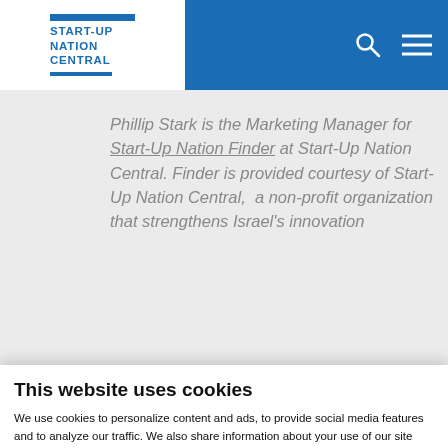START-UP NATION CENTRAL
Phillip Stark is the Marketing Manager for Start-Up Nation Finder at Start-Up Nation Central. Finder is provided courtesy of Start-Up Nation Central, a non-profit organization that strengthens Israel's innovation
This website uses cookies
We use cookies to personalize content and ads, to provide social media features and to analyze our traffic. We also share information about your use of our site with our social media, advertising and analytics partners who may combine it with other information that you've provided to them or that they've collected from your use of their services.
Allow all cookies
Allow selection
Use necessary cookies only
Necessary  Preferences  Statistics  Marketing  Show details